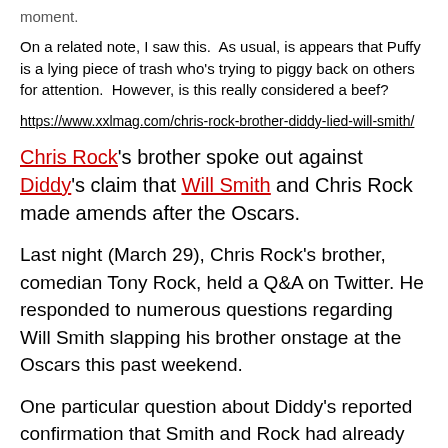moment.
On a related note, I saw this.  As usual, is appears that Puffy is a lying piece of trash who's trying to piggy back on others for attention.  However, is this really considered a beef?
https://www.xxlmag.com/chris-rock-brother-diddy-lied-will-smith/
Chris Rock's brother spoke out against Diddy's claim that Will Smith and Chris Rock made amends after the Oscars.
Last night (March 29), Chris Rock's brother, comedian Tony Rock, held a Q&A on Twitter. He responded to numerous questions regarding Will Smith slapping his brother onstage at the Oscars this past weekend.
One particular question about Diddy's reported confirmation that Smith and Rock had already made amends following the ceremony and...